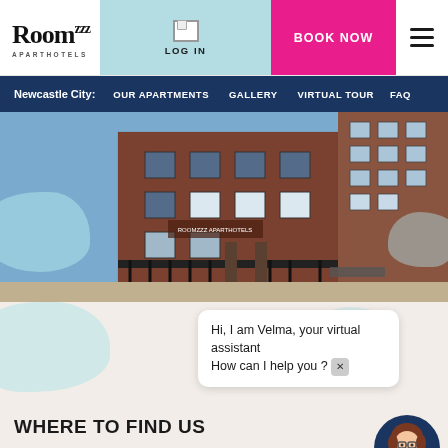Roomzzz APARTHOTELS — LOG IN | BOOK NOW | menu
Newcastle City: OUR APARTMENTS  GALLERY  VIRTUAL TOUR  FAQ
[Figure (photo): Exterior photo of Roomzzz Aparthotels Newcastle City, a red brick building with black iron gates and a modern glass/steel building adjacent, photographed on a sunny day.]
Hi, I am Velma, your virtual assistant How can I help you ?
WHERE TO FIND US
Roomzzz Newcastle City
6 Clavering Place